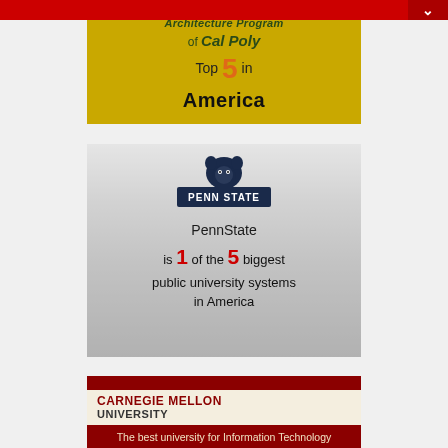[Figure (infographic): Cal Poly Architecture Program infographic on golden/yellow background stating 'Architecture Program of Cal Poly Top 5 in America']
[Figure (infographic): Penn State infographic with lion mascot logo stating 'PennState is 1 of the 5 biggest public university systems in America', with campus building photo in background]
[Figure (infographic): Carnegie Mellon University infographic with dark red header bar, text 'CARNEGIE MELLON UNIVERSITY' and beginning of 'The best university for Information Technology']